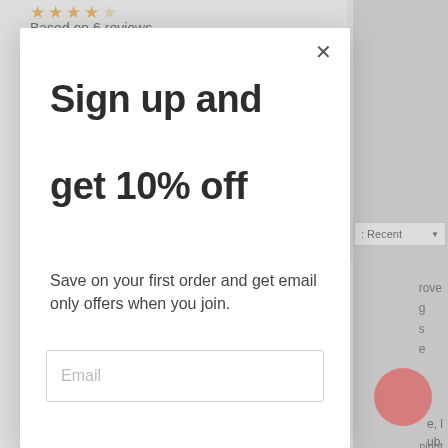★★★★☆ Based on 6 reviews
[Figure (screenshot): E-commerce website popup modal overlay showing a sign-up offer]
Sign up and get 10% off
Save on your first order and get email only offers when you join.
Email